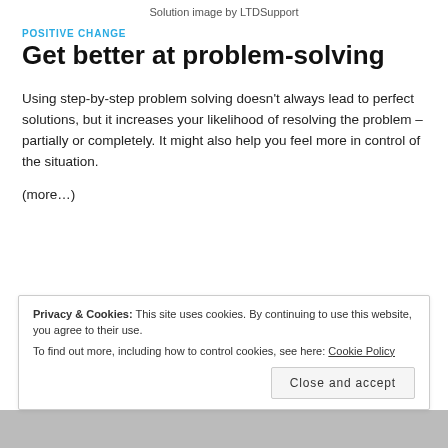Solution image by LTDSupport
POSITIVE CHANGE
Get better at problem-solving
Using step-by-step problem solving doesn't always lead to perfect solutions, but it increases your likelihood of resolving the problem – partially or completely. It might also help you feel more in control of the situation.
(more...)
Privacy & Cookies: This site uses cookies. By continuing to use this website, you agree to their use.
To find out more, including how to control cookies, see here: Cookie Policy
Close and accept
[Figure (photo): Partial view of a diagram/image at the bottom of the page, appears to be a flowchart or solution diagram.]